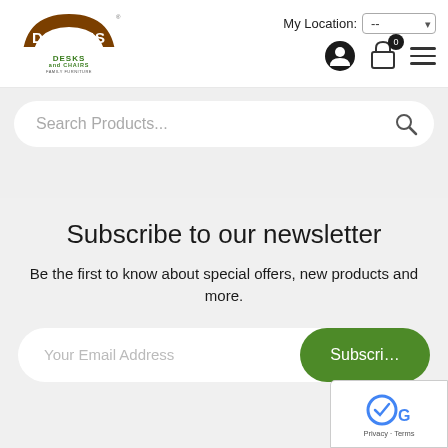[Figure (logo): Danny's Desks and Chairs logo — brown arch banner with green text]
My Location: --
Search Products...
Subscribe to our newsletter
Be the first to know about special offers, new products and more.
Your Email Address
Subscribe
Privacy · Terms